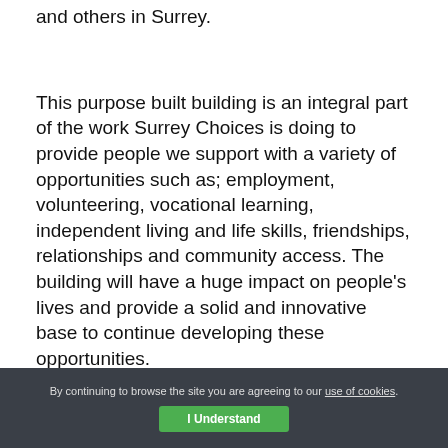and others in Surrey.
This purpose built building is an integral part of the work Surrey Choices is doing to provide people we support with a variety of opportunities such as; employment, volunteering, vocational learning, independent living and life skills, friendships, relationships and community access. The building will have a huge impact on people’s lives and provide a solid and innovative base to continue developing these opportunities.
We are in the final stages of completing the building and we are working extremely hard to
By continuing to browse the site you are agreeing to our use of cookies. I Understand